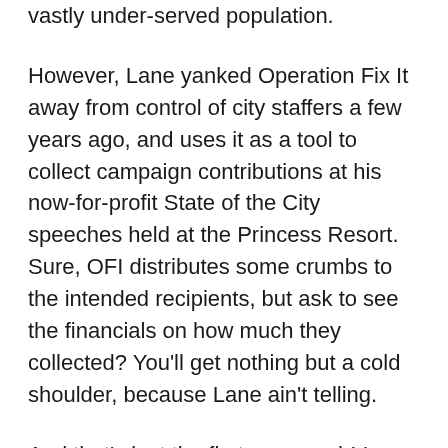vastly under-served population.
However, Lane yanked Operation Fix It away from control of city staffers a few years ago, and uses it as a tool to collect campaign contributions at his now-for-profit State of the City speeches held at the Princess Resort. Sure, OFI distributes some crumbs to the intended recipients, but ask to see the financials on how much they collected? You'll get nothing but a cold shoulder, because Lane ain't telling.
And that's just the first paragraph! I could pick this puff piece apart line-by-line all the way to the end. But if Lane's going to start out his sales pitch to you, the voter, with four whoppers, you know the rest of it is nothing but double-talk and lies.